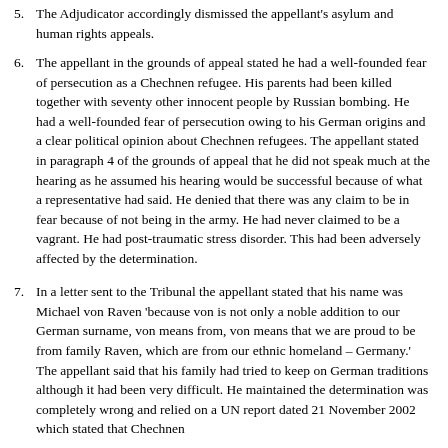5. The Adjudicator accordingly dismissed the appellant's asylum and human rights appeals.
6. The appellant in the grounds of appeal stated he had a well-founded fear of persecution as a Chechnen refugee. His parents had been killed together with seventy other innocent people by Russian bombing. He had a well-founded fear of persecution owing to his German origins and a clear political opinion about Chechnen refugees. The appellant stated in paragraph 4 of the grounds of appeal that he did not speak much at the hearing as he assumed his hearing would be successful because of what a representative had said. He denied that there was any claim to be in fear because of not being in the army. He had never claimed to be a vagrant. He had post-traumatic stress disorder. This had been adversely affected by the determination.
7. In a letter sent to the Tribunal the appellant stated that his name was Michael von Raven 'because von is not only a noble addition to our German surname, von means from, von means that we are proud to be from family Raven, which are from our ethnic homeland – Germany.' The appellant said that his family had tried to keep on German traditions although it had been very difficult. He maintained the determination was completely wrong and relied on a UN report dated 21 November 2002 which stated that Chechnen